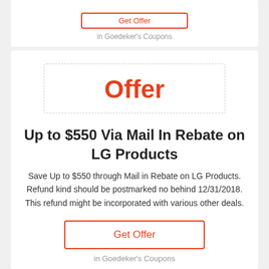in Goedeker's Coupons
Offer
Sale
Up to $550 Via Mail In Rebate on LG Products
Save Up to $550 through Mail in Rebate on LG Products. Refund kind should be postmarked no behind 12/31/2018. This refund might be incorporated with various other deals.
Get Offer
in Goedeker's Coupons